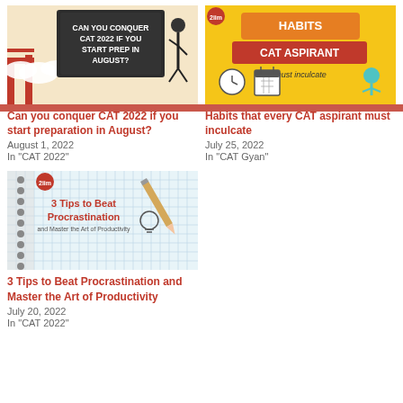[Figure (illustration): Blog post thumbnail: chalkboard with text 'Can you conquer CAT 2022 if you start prep in August?' with Japanese-style illustration]
Can you conquer CAT 2022 if you start preparation in August?
August 1, 2022
In "CAT 2022"
[Figure (illustration): Blog post thumbnail: orange/yellow background with text 'Habits that every CAT Aspirant must inculcate' with icons of calendar and meditation figure]
Habits that every CAT aspirant must inculcate
July 25, 2022
In "CAT Gyan"
[Figure (illustration): Blog post thumbnail: light blue grid background with pencil, notebook and text '3 Tips to Beat Procrastination and Master the Art of Productivity']
3 Tips to Beat Procrastination and Master the Art of Productivity
July 20, 2022
In "CAT 2022"